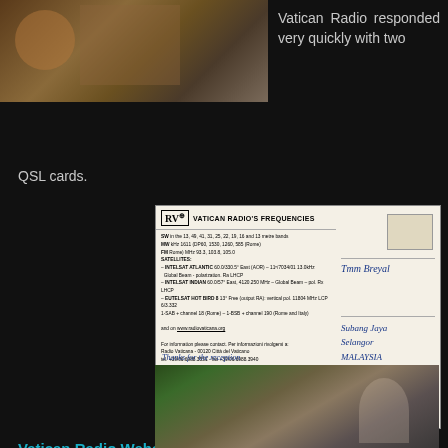[Figure (photo): Photo of a person in front of patterned backdrop, partial view at top of page]
Vatican Radio responded very quickly with two QSL cards.
[Figure (photo): QSL card from Vatican Radio showing frequencies information on the left and handwritten address to Tmm Breyal, Subang Jaya, Selangor, Malaysia on the right, with handwritten message thanking for the reception report from Festus Jaremialie and the Africa Service Team]
Vatican Radio Website
[Figure (photo): Photo of a crowd of people with a bald man visible at the right side]